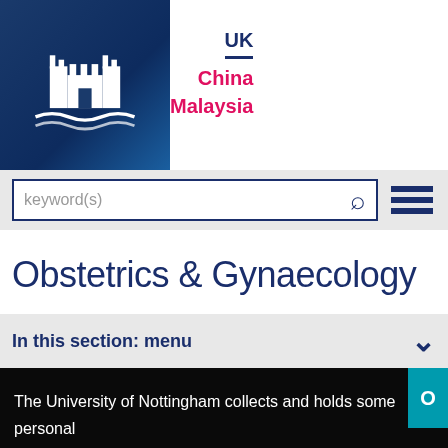[Figure (logo): University of Nottingham castle logo on dark blue background]
UK
China
Malaysia
[Figure (screenshot): Search bar with keyword(s) placeholder and hamburger menu icon]
Obstetrics & Gynaecology
In this section: menu
The University of Nottingham collects and holds some personal information about how you use our website when you visit us.
See our policy